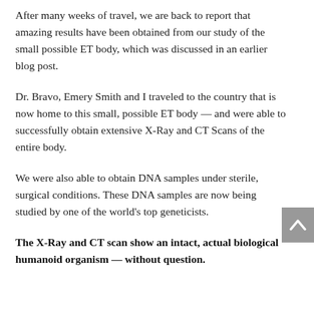After many weeks of travel, we are back to report that amazing results have been obtained from our study of the small possible ET body, which was discussed in an earlier blog post.
Dr. Bravo, Emery Smith and I traveled to the country that is now home to this small, possible ET body — and were able to successfully obtain extensive X-Ray and CT Scans of the entire body.
We were also able to obtain DNA samples under sterile, surgical conditions. These DNA samples are now being studied by one of the world's top geneticists.
The X-Ray and CT scan show an intact, actual biological humanoid organism — without question.